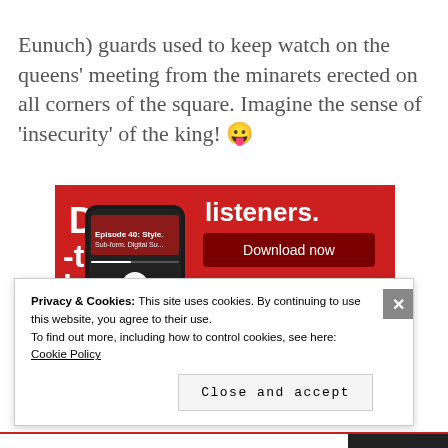Eunuch) guards used to keep watch on the queens' meeting from the minarets erected on all corners of the square. Imagine the sense of 'insecurity' of the king! 😛
[Figure (screenshot): Podcast app advertisement on red background showing a smartphone with a media player interface, text reading 'Di-tri-buted' and 'listeners.' with a 'Download now' button]
Privacy & Cookies: This site uses cookies. By continuing to use this website, you agree to their use.
To find out more, including how to control cookies, see here:
Cookie Policy
Close and accept